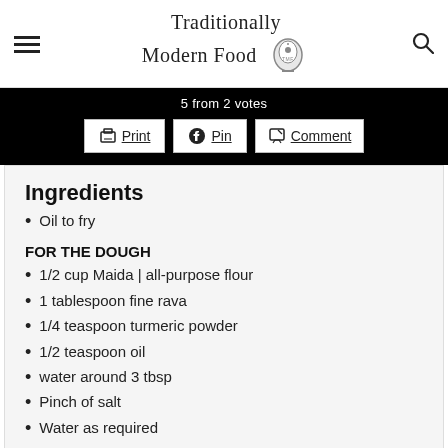Traditionally Modern Food
5 from 2 votes
Print  Pin  Comment
Ingredients
Oil to fry
FOR THE DOUGH
1/2 cup Maida | all-purpose flour
1 tablespoon fine rava
1/4 teaspoon turmeric powder
1/2 teaspoon oil
water around 3 tbsp
Pinch of salt
Water as required